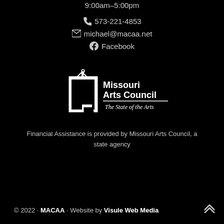9:00am-5:00pm
573-221-4853
michael@macaa.net
Facebook
[Figure (logo): Missouri Arts Council logo — white silhouette of Missouri state shape with a hanging sign frame, text: Missouri Arts Council / The State of the Arts]
Financial Assistance is provided by Missouri Arts Council, a state agency
© 2022 · MACAA · Website by Visule Web Media